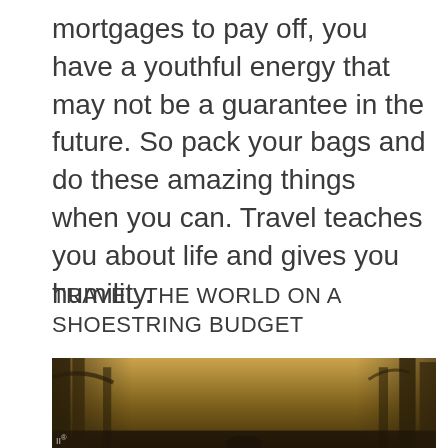mortgages to pay off, you have a youthful energy that may not be a guarantee in the future. So pack your bags and do these amazing things when you can. Travel teaches you about life and gives you humility.
TRAVEL THE WORLD ON A SHOESTRING BUDGET
[Figure (photo): Outdoor forest scene with trees and warm sunset light, person visible at bottom of frame]